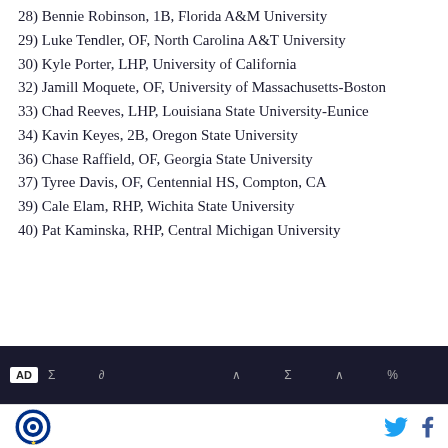28) Bennie Robinson, 1B, Florida A&M University
29) Luke Tendler, OF, North Carolina A&T University
30) Kyle Porter, LHP, University of California
32) Jamill Moquete, OF, University of Massachusetts-Boston
33) Chad Reeves, LHP, Louisiana State University-Eunice
34) Kavin Keyes, 2B, Oregon State University
36) Chase Raffield, OF, Georgia State University
37) Tyree Davis, OF, Centennial HS, Compton, CA
39) Cale Elam, RHP, Wichita State University
40) Pat Kaminska, RHP, Central Michigan University
[Figure (other): Advertisement bar with AD label and symbols]
Logo | Twitter icon | Facebook icon